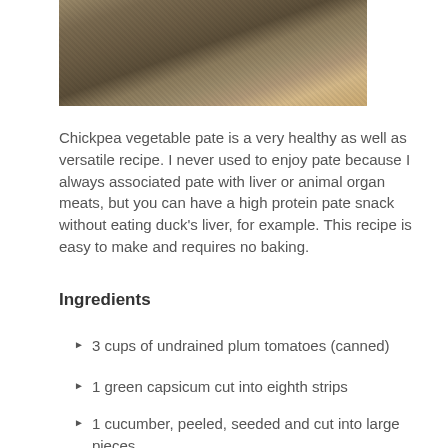[Figure (photo): Close-up photo of chickpea vegetable pate on a wooden board, showing textured surface of the pate]
Chickpea vegetable pate is a very healthy as well as versatile recipe. I never used to enjoy pate because I always associated pate with liver or animal organ meats, but you can have a high protein pate snack without eating duck's liver, for example. This recipe is easy to make and requires no baking.
Ingredients
3 cups of undrained plum tomatoes (canned)
1 green capsicum cut into eighth strips
1 cucumber, peeled, seeded and cut into large pieces